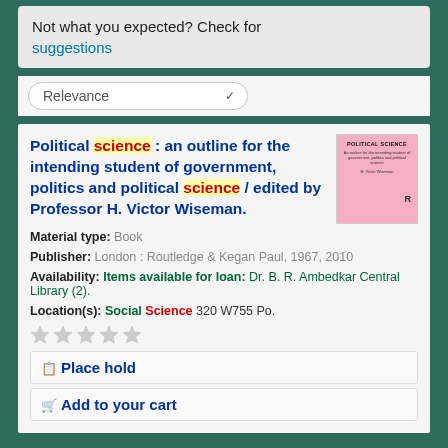Not what you expected? Check for suggestions
Relevance
Political science : an outline for the intending student of government, politics and political science / edited by Professor H. Victor Wiseman.
[Figure (illustration): Pink book cover of 'Political Science' edited by Professor H. Victor Wiseman, published by Routledge]
Material type: Book
Publisher: London : Routledge & Kegan Paul, 1967, 2010
Availability: Items available for loan: Dr. B. R. Ambedkar Central Library (2).
Location(s): Social Science 320 W755 Po.
Place hold
Add to your cart